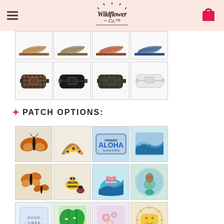Wildflower + Co. (logo with hamburger menu and shopping cart)
[Figure (photo): Grid of 4 fanny pack/belt bag product images in various styles (leopard, black, camo, white/clear)]
* PATCH OPTIONS:
[Figure (photo): Grid of patch product images: row 1: butterfly patch, sunflower rainbow patch, Hawaii Aloha license plate patch, wave patch; row 2: monarch butterflies patch, bee patch, Live in the Sunshine heart wave patch, mermaid circle patch; row 3: good vibes rhinestone patch, tropical leaf patch, floral patch, sun moon patch]